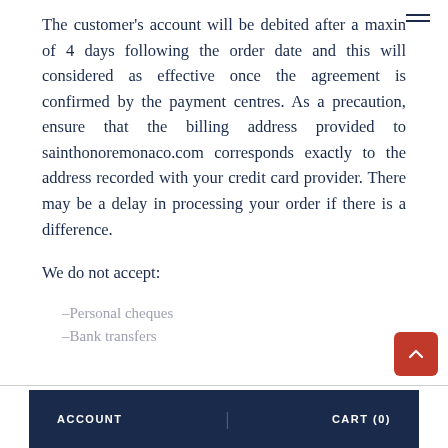The customer's account will be debited after a maxin of 4 days following the order date and this will considered as effective once the agreement is confirmed by the payment centres. As a precaution, ensure that the billing address provided to sainthonoremonaco.com corresponds exactly to the address recorded with your credit card provider. There may be a delay in processing your order if there is a difference.
We do not accept:
–Personal cheques
–Bank transfers
ACCOUNT | CART (0)